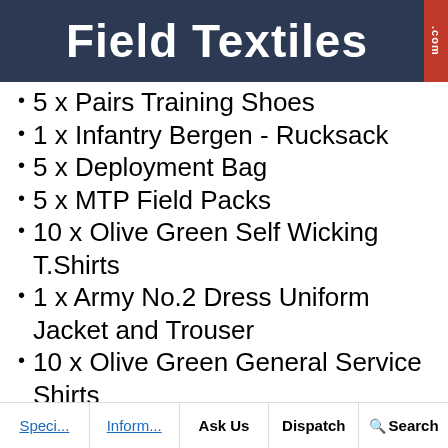Field Textiles .com
5 x Pairs Training Shoes
1 x Infantry Bergen - Rucksack
5 x Deployment Bag
5 x MTP Field Packs
10 x Olive Green Self Wicking T.Shirts
1 x Army No.2 Dress Uniform Jacket and Trouser
10 x Olive Green General Service Shirts
SOME ITEMS/STYLES MAY CHANGE DUE TO CURRENT STOCK - ALL ITEMS SUBJECT TO AVAILABILITY
Speci... | Inform... | Ask Us | Dispatch | Search